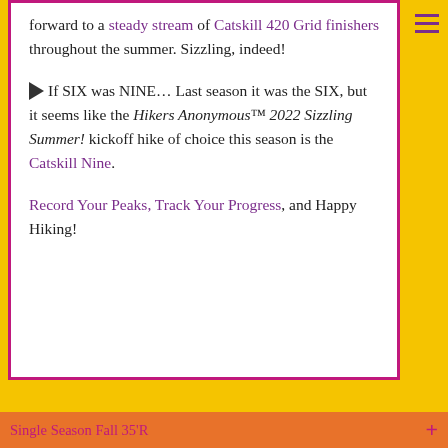forward to a steady stream of Catskill 420 Grid finishers throughout the summer. Sizzling, indeed!
▶ If SIX was NINE… Last season it was the SIX, but it seems like the Hikers Anonymous™ 2022 Sizzling Summer! kickoff hike of choice this season is the Catskill Nine.
Record Your Peaks, Track Your Progress, and Happy Hiking!
Single Season Fall 35'R